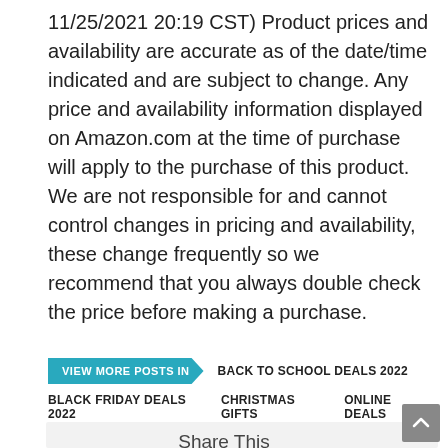11/25/2021 20:19 CST) Product prices and availability are accurate as of the date/time indicated and are subject to change. Any price and availability information displayed on Amazon.com at the time of purchase will apply to the purchase of this product. We are not responsible for and cannot control changes in pricing and availability, these change frequently so we recommend that you always double check the price before making a purchase.
VIEW MORE POSTS IN  BACK TO SCHOOL DEALS 2022  BLACK FRIDAY DEALS 2022  CHRISTMAS GIFTS  ONLINE DEALS
Share This
[Figure (other): Social share buttons: Facebook (blue), Twitter (light blue), Pinterest (red) icons]